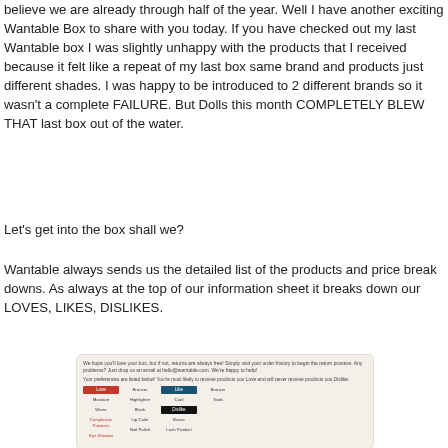believe we are already through half of the year. Well I have another exciting Wantable Box to share with you today. If you have checked out my last Wantable box I was slightly unhappy with the products that I received because it felt like a repeat of my last box same brand and products just different shades. I was happy to be introduced to 2 different brands so it wasn't a complete FAILURE. But Dolls this month COMPLETELY BLEW THAT last box out of the water.
Let's get into the box shall we?
Wantable always sends us the detailed list of the products and price break downs. As always at the top of our information sheet it breaks down our LOVES, LIKES, DISLIKES.
[Figure (photo): A photo of a Wantable information sheet showing preferences breakdown with Love, Like, Dislike categories and product types listed under each.]